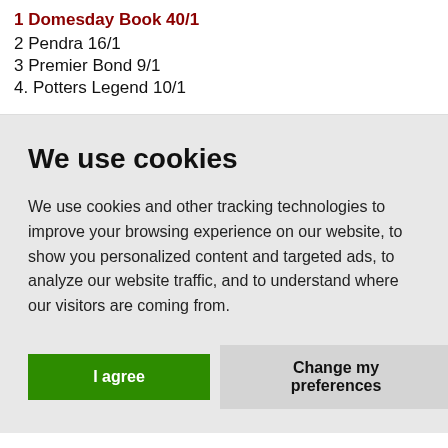1 Domesday Book 40/1
2 Pendra 16/1
3 Premier Bond 9/1
4. Potters Legend 10/1
We use cookies
We use cookies and other tracking technologies to improve your browsing experience on our website, to show you personalized content and targeted ads, to analyze our website traffic, and to understand where our visitors are coming from.
I agree
Change my preferences